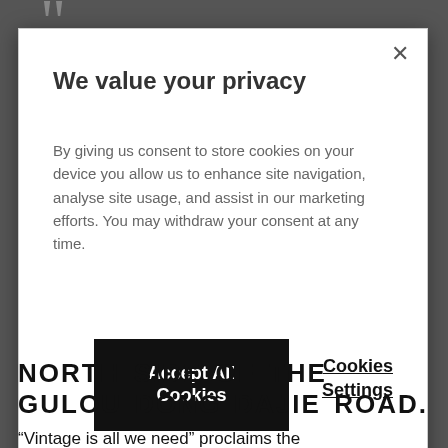[Figure (screenshot): Cookie consent modal dialog overlaying a webpage. Modal contains title 'We value your privacy', explanatory text, an 'Accept All Cookies' black button, and a 'Cookies Settings' underlined text link, with an X close button in the top right corner.]
We value your privacy
By giving us consent to store cookies on your device you allow us to enhance site navigation, analyse site usage, and assist in our marketing efforts. You may withdraw your consent at any time.
Accept All Cookies
Cookies Settings
NORTH SIDE OF THE GULOU DONG DAJIE ROAD.
“Vintage is all we need” proclaims the